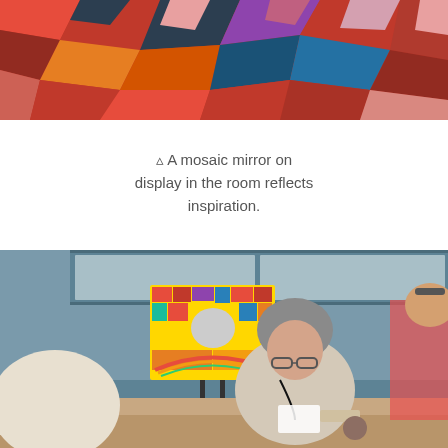[Figure (photo): Close-up of a colorful mosaic mirror with red, blue, orange, pink, and multicolored tile fragments, partially cropped at top of page.]
▵ A mosaic mirror on display in the room reflects inspiration.
[Figure (photo): Indoor classroom or workshop scene. A woman with short gray hair, wearing glasses and a floral shirt, sits at a table working on a mosaic project. A colorful mosaic mirror artwork is displayed on a stand behind her to the left. Another person (partially visible on the right) is leaning over. Blue cabinetry and shelving are visible in the background. Another person's white hair is visible in the foreground left.]